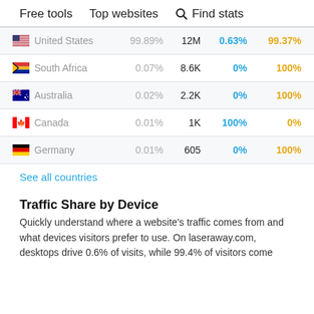Free tools   Top websites   🔍 Find stats
| Country | Share% | Visits | Desktop% | Mobile% |
| --- | --- | --- | --- | --- |
| United States | 99.89% | 12M | 0.63% | 99.37% |
| South Africa | 0.07% | 8.6K | 0% | 100% |
| Australia | 0.02% | 2.2K | 0% | 100% |
| Canada | 0.01% | 1K | 100% | 0% |
| Germany | 0.01% | 605 | 0% | 100% |
See all countries
Traffic Share by Device
Quickly understand where a website's traffic comes from and what devices visitors prefer to use. On laseraway.com, desktops drive 0.6% of visits, while 99.4% of visitors come